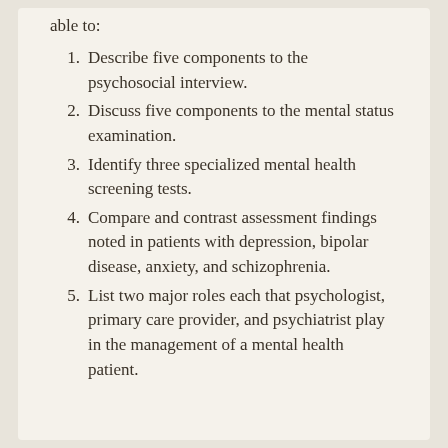able to:
Describe five components to the psychosocial interview.
Discuss five components to the mental status examination.
Identify three specialized mental health screening tests.
Compare and contrast assessment findings noted in patients with depression, bipolar disease, anxiety, and schizophrenia.
List two major roles each that psychologist, primary care provider, and psychiatrist play in the management of a mental health patient.